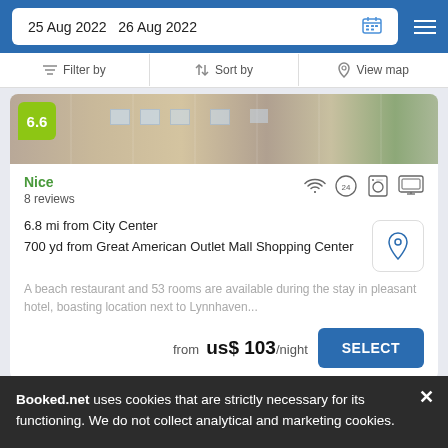25 Aug 2022  26 Aug 2022
Filter by   ↑↓ Sort by   View map
[Figure (photo): Hotel exterior photo showing building facade]
6.6
Nice
8 reviews
6.8 mi from City Center
700 yd from Great American Outlet Mall Shopping Center
A beach restaurant and 53 rooms are available during the stay in pleasant hotel, boasting location next to Lynnhaven...
from  us$ 103/night
SELECT
Candlewood Suites Virginia Beach Town...
Booked.net uses cookies that are strictly necessary for its functioning. We do not collect analytical and marketing cookies.